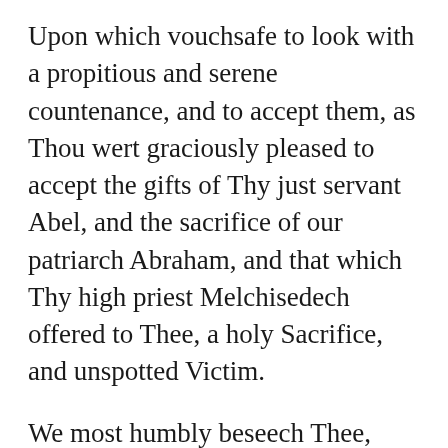Upon which vouchsafe to look with a propitious and serene countenance, and to accept them, as Thou wert graciously pleased to accept the gifts of Thy just servant Abel, and the sacrifice of our patriarch Abraham, and that which Thy high priest Melchisedech offered to Thee, a holy Sacrifice, and unspotted Victim.
We most humbly beseech Thee, almighty God, command these offerings to be borne by the hands of Thy holy Angels to Thine altar on high, in the sight of Thy divine majesty, that as many as shall partake of the most holy Body ✝ and Blood ✝ of Thy Son at this altar, may be filled with every heavenly grace and blessing. Through the